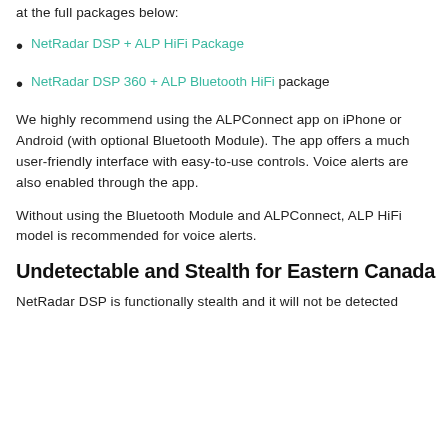an AL Priority laser system. If you don't already own ALP, take a look at the full packages below:
NetRadar DSP + ALP HiFi Package
NetRadar DSP 360 + ALP Bluetooth HiFi package
We highly recommend using the ALPConnect app on iPhone or Android (with optional Bluetooth Module). The app offers a much user-friendly interface with easy-to-use controls. Voice alerts are also enabled through the app.
Without using the Bluetooth Module and ALPConnect, ALP HiFi model is recommended for voice alerts.
Undetectable and Stealth for Eastern Canada
NetRadar DSP is functionally stealth and it will not be detected